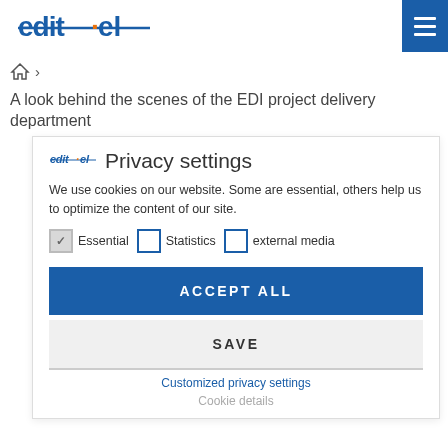[Figure (logo): editel logo with strikethrough styling and orange dot on i]
[Figure (other): Hamburger menu icon (three white lines on blue background)]
[Figure (other): Breadcrumb navigation with home icon and chevron]
A look behind the scenes of the EDI project delivery department
[Figure (logo): Small editel logo in modal header]
Privacy settings
We use cookies on our website. Some are essential, others help us to optimize the content of our site.
Essential (checked)
Statistics (unchecked)
external media (unchecked)
ACCEPT ALL
SAVE
Customized privacy settings
Cookie details